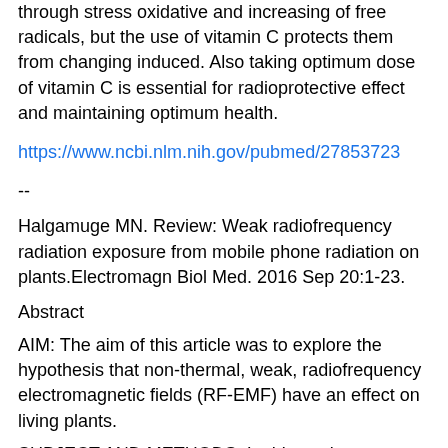through stress oxidative and increasing of free radicals, but the use of vitamin C protects them from changing induced. Also taking optimum dose of vitamin C is essential for radioprotective effect and maintaining optimum health.
https://www.ncbi.nlm.nih.gov/pubmed/27853723
--
Halgamuge MN. Review: Weak radiofrequency radiation exposure from mobile phone radiation on plants.Electromagn Biol Med. 2016 Sep 20:1-23.
Abstract
AIM: The aim of this article was to explore the hypothesis that non-thermal, weak, radiofrequency electromagnetic fields (RF-EMF) have an effect on living plants.
SUBJECT AND METHODS: In this study, we performed an analysis of the data extracted from the 45 peer-reviewed scientific publications (1996-2016) describing 169 experimental observations at the physiological and